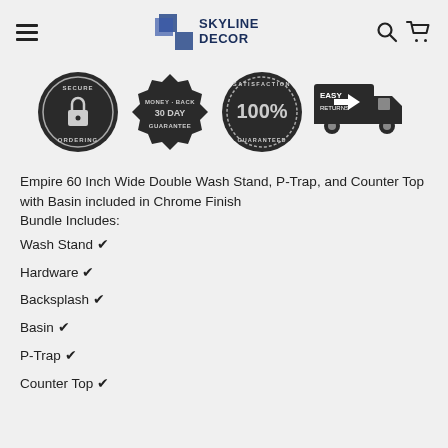Skyline Decor
[Figure (infographic): Four trust badge icons: Secure Ordering (padlock badge), Money-Back 30 Day Guarantee (seal badge), 100% Satisfaction Guaranteed (circle badge), Easy Returns (truck icon)]
Empire 60 Inch Wide Double Wash Stand, P-Trap, and Counter Top with Basin included in Chrome Finish
Bundle Includes:
Wash Stand ✔
Hardware ✔
Backsplash ✔
Basin ✔
P-Trap ✔
Counter Top ✔